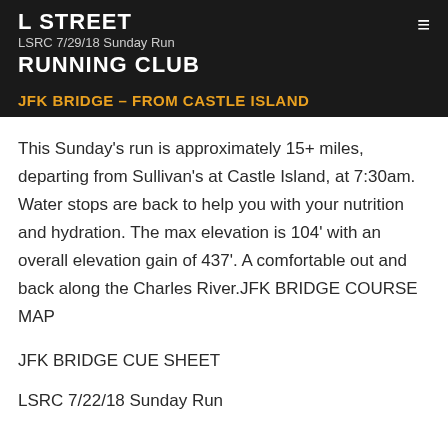L STREET
LSRC 7/29/18 Sunday Run
RUNNING CLUB
JFK BRIDGE – FROM CASTLE ISLAND
This Sunday's run is approximately 15+ miles, departing from Sullivan's at Castle Island, at 7:30am. Water stops are back to help you with your nutrition and hydration. The max elevation is 104' with an overall elevation gain of 437'. A comfortable out and back along the Charles River.JFK BRIDGE COURSE MAP
JFK BRIDGE CUE SHEET
LSRC 7/22/18 Sunday Run